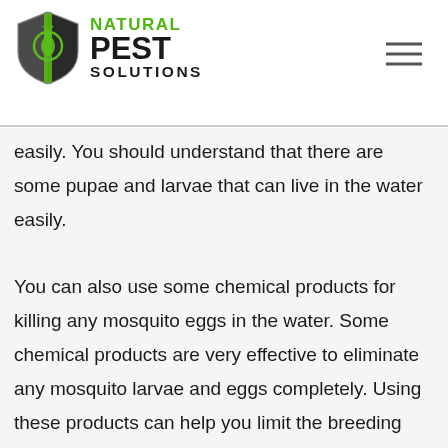Natural Pest Solutions — logo and navigation header
This tip is very useful for you who want to get rid of mosquitoes from yard completely. You should remove all unnecessary water from your garden easily. You should understand that there are some pupae and larvae that can live in the water easily.

You can also use some chemical products for killing any mosquito eggs in the water. Some chemical products are very effective to eliminate any mosquito larvae and eggs completely. Using these products can help you limit the breeding